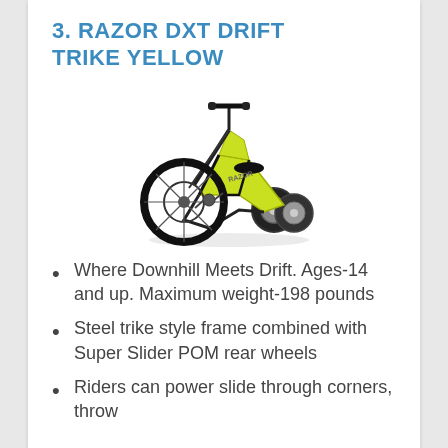3. RAZOR DXT DRIFT TRIKE YELLOW
[Figure (photo): Yellow and black Razor DXT Drift Trike with large front wheel and two small rear wheels]
Where Downhill Meets Drift. Ages-14 and up. Maximum weight-198 pounds
Steel trike style frame combined with Super Slider POM rear wheels
Riders can power slide through corners, throw